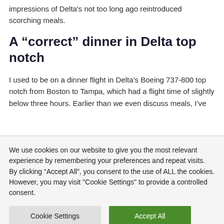impressions of Delta's not too long ago reintroduced scorching meals.
A “correct” dinner in Delta top notch
I used to be on a dinner flight in Delta’s Boeing 737-800 top notch from Boston to Tampa, which had a flight time of slightly below three hours. Earlier than we even discuss meals, I’ve
We use cookies on our website to give you the most relevant experience by remembering your preferences and repeat visits. By clicking “Accept All”, you consent to the use of ALL the cookies. However, you may visit "Cookie Settings" to provide a controlled consent.
Cookie Settings
Accept All